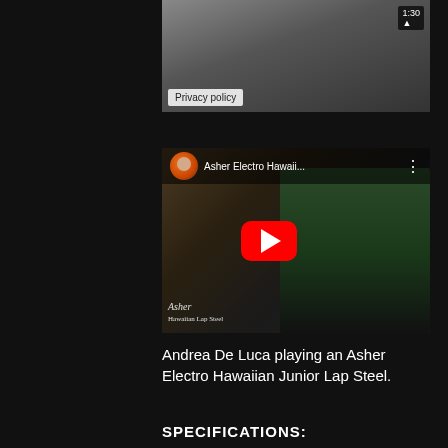[Figure (screenshot): Partially visible video with Privacy policy label and 1:30 timer in top right corner]
[Figure (screenshot): YouTube embedded video thumbnail showing Andrea De Luca playing an Asher Electro Hawaiian Junior Lap Steel, with red YouTube play button and channel avatar]
Andrea De Luca playing an Asher Electro Hawaiian Junior Lap Steel.
SPECIFICATIONS: